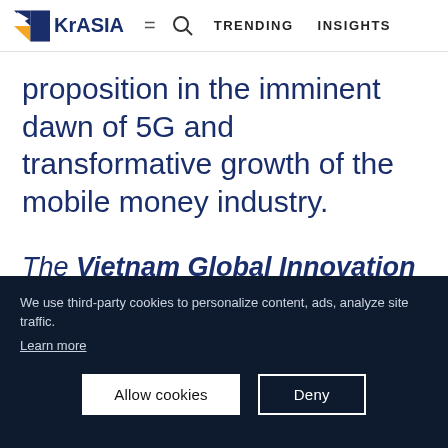KrASIA   =  Q  TRENDING   INSIGHTS
proposition in the imminent dawn of 5G and transformative growth of the mobile money industry.
The Vietnam Global Innovation is an initiative under Enterprise Singapore's Global Innovation Alliance, powered by
We use third-party cookies to personalize content, ads, analyze site traffic.
Learn more
[Allow cookies] [Deny]